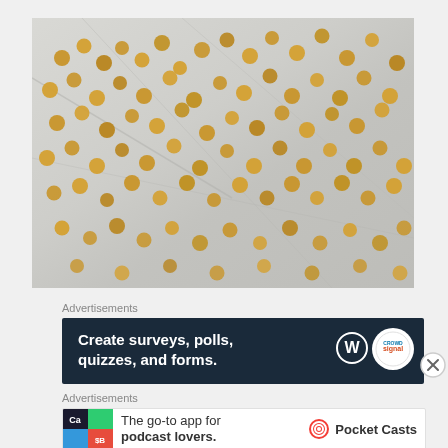[Figure (photo): Roasted chickpeas spread out on a foil-lined baking sheet, golden brown in color]
Advertisements
[Figure (screenshot): Advertisement banner: 'Create surveys, polls, quizzes, and forms.' with WordPress logo and Crowdsignal branding on dark navy background]
Advertisements
[Figure (screenshot): Advertisement: 'The go-to app for podcast lovers.' with Pocket Casts logo and app icon]